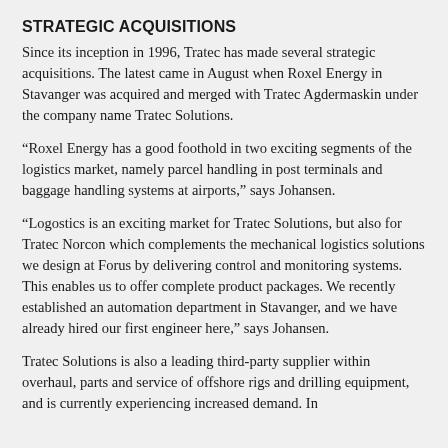STRATEGIC ACQUISITIONS
Since its inception in 1996, Tratec has made several strategic acquisitions. The latest came in August when Roxel Energy in Stavanger was acquired and merged with Tratec Agdermaskin under the company name Tratec Solutions.
“Roxel Energy has a good foothold in two exciting segments of the logistics market, namely parcel handling in post terminals and baggage handling systems at airports,” says Johansen.
“Logostics is an exciting market for Tratec Solutions, but also for Tratec Norcon which complements the mechanical logistics solutions we design at Forus by delivering control and monitoring systems. This enables us to offer complete product packages. We recently established an automation department in Stavanger, and we have already hired our first engineer here,” says Johansen.
Tratec Solutions is also a leading third-party supplier within overhaul, parts and service of offshore rigs and drilling equipment, and is currently experiencing increased demand. In